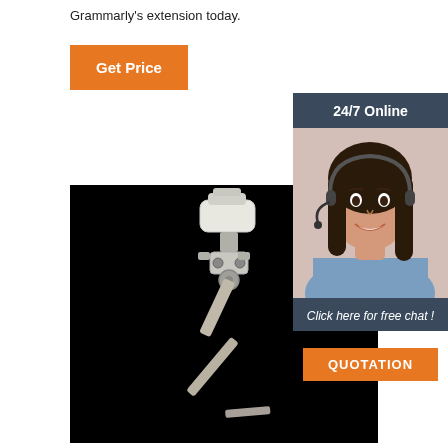Grammarly's extension today.
Get Price
[Figure (photo): A robotic arm or mechanical device photographed against a black background]
24/7 Online
[Figure (photo): Customer service representative woman wearing a headset, smiling]
Click here for free chat !
QUOTATION